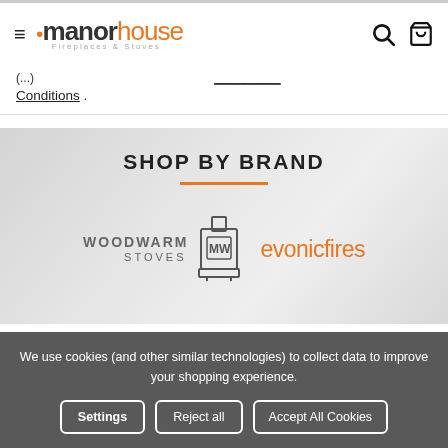Manor House Fireplaces & Stoves — navigation bar with hamburger menu, logo, search and cart icons
Conditions .
SHOP BY BRAND
[Figure (logo): Woodwarm Stoves logo with stove icon]
[Figure (logo): evonicfires logo in orange text]
We use cookies (and other similar technologies) to collect data to improve your shopping experience.
Settings  Reject all  Accept All Cookies